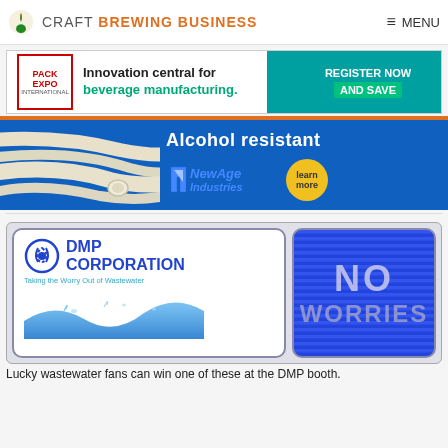CRAFT BREWING BUSINESS  MENU
[Figure (infographic): Pack Expo International banner ad: Innovation central for beverage manufacturing. Register Now and Save.]
[Figure (infographic): NewAge Industries ad: Alcohol resistant tubing with blue background and white tubes. Learn more button.]
[Figure (infographic): DMP Corporation ad: Taking the Worry Out of Wastewater. Left side shows logo and water splash on white background. Right side shows blue LED display with NO WORRIES text.]
Lucky wastewater fans can win one of these at the DMP booth.